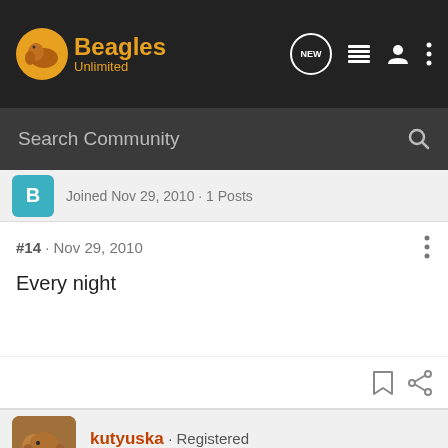[Figure (logo): Beagles Unlimited logo with dog icon and navigation icons (NEW badge, list, user, dots)]
Search Community
Joined Nov 29, 2010 · 1 Posts
#14 · Nov 29, 2010
Every night
kutyuska · Registered
Joined Oct 3, 2010 · 103 Posts